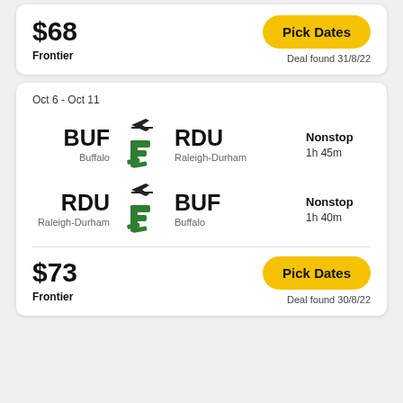$68
Frontier
Pick Dates
Deal found 31/8/22
Oct 6 - Oct 11
BUF — Buffalo
RDU — Raleigh-Durham
Nonstop 1h 45m
RDU — Raleigh-Durham
BUF — Buffalo
Nonstop 1h 40m
$73
Frontier
Pick Dates
Deal found 30/8/22